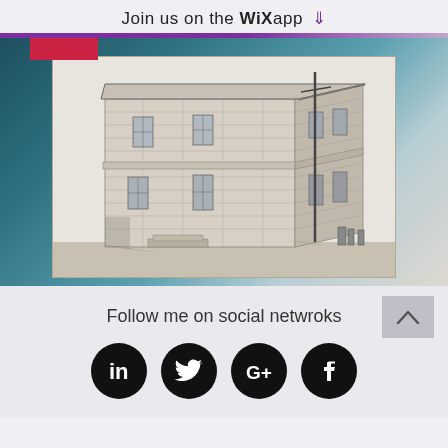Join us on the WiX app ⬇
[Figure (photo): Black and white illustration/engraving of a two-storey stone building with rusticated masonry walls, small windows with bars, and a utility pole near the side entrance. The building appears to be a historic public or government structure.]
Follow me on social netwroks
[Figure (infographic): Row of four social media icons (LinkedIn, Twitter, Google+, Facebook) as white symbols on black circles.]